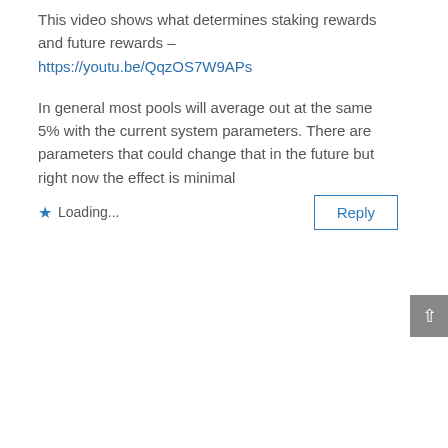This video shows what determines staking rewards and future rewards – https://youtu.be/QqzOS7W9APs
In general most pools will average out at the same 5% with the current system parameters. There are parameters that could change that in the future but right now the effect is minimal
★ Loading...
Reply